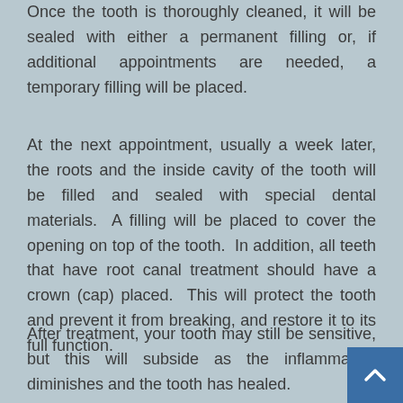Once the tooth is thoroughly cleaned, it will be sealed with either a permanent filling or, if additional appointments are needed, a temporary filling will be placed.
At the next appointment, usually a week later, the roots and the inside cavity of the tooth will be filled and sealed with special dental materials.  A filling will be placed to cover the opening on top of the tooth.  In addition, all teeth that have root canal treatment should have a crown (cap) placed.  This will protect the tooth and prevent it from breaking, and restore it to its full function.
After treatment, your tooth may still be sensitive, but this will subside as the inflammation diminishes and the tooth has healed.